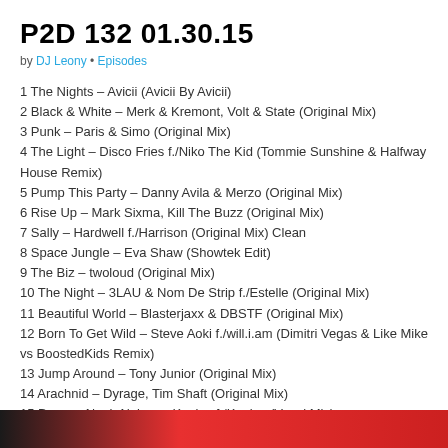P2D 132 01.30.15
by DJ Leony • Episodes
1 The Nights – Avicii (Avicii By Avicii)
2 Black & White – Merk & Kremont, Volt & State (Original Mix)
3 Punk – Paris & Simo (Original Mix)
4 The Light – Disco Fries f./Niko The Kid (Tommie Sunshine & Halfway House Remix)
5 Pump This Party – Danny Avila & Merzo (Original Mix)
6 Rise Up – Mark Sixma, Kill The Buzz (Original Mix)
7 Sally – Hardwell f./Harrison (Original Mix) Clean
8 Space Jungle – Eva Shaw (Showtek Edit)
9 The Biz – twoloud (Original Mix)
10 The Night – 3LAU & Nom De Strip f./Estelle (Original Mix)
11 Beautiful World – Blasterjaxx & DBSTF (Original Mix)
12 Born To Get Wild – Steve Aoki f./will.i.am (Dimitri Vegas & Like Mike vs BoostedKids Remix)
13 Jump Around – Tony Junior (Original Mix)
14 Arachnid – Dyrage, Tim Shaft (Original Mix)
15 Down – Noah Neiman, Keeley f./Keeley (Vocal Mix)
16 Skyline – Sick Individuals (Original Mix)
17 Blow Your Mind – Tiesto, MOTI (Original Mix)
18 Love Like This – Tommy Trash & Henry Fong (Original Mix)
[Figure (other): Dark gradient bar at bottom of page transitioning from black to red]